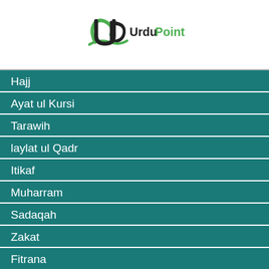[Figure (logo): UrduPoint logo with green and dark stylized 'UP' letters and 'UrduPoint' text in dark/green]
Hajj
Ayat ul Kursi
Tarawih
laylat ul Qadr
Itikaf
Muharram
Sadaqah
Zakat
Fitrana